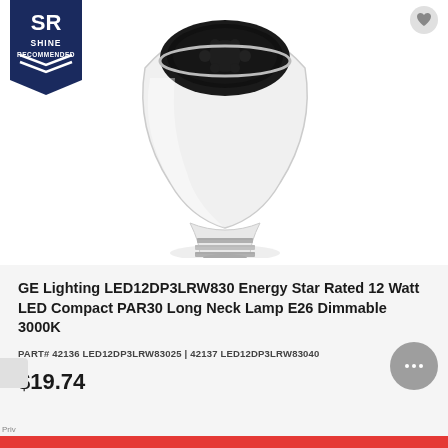[Figure (photo): GE Lighting PAR30 LED bulb product photo on white background, showing a white PAR30 long neck lamp with E26 screw base and dark LED lens at top. A 'SR Shine Recommended' dark navy badge is in the top-left corner. A heart/wishlist icon is in the top-right.]
GE Lighting LED12DP3LRW830 Energy Star Rated 12 Watt LED Compact PAR30 Long Neck Lamp E26 Dimmable 3000K
PART# 42136 LED12DP3LRW83025 | 42137 LED12DP3LRW83040
$19.74